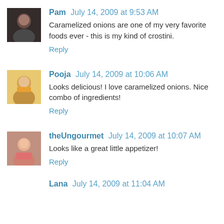[Figure (photo): Avatar photo of Pam, a woman with dark hair]
Pam July 14, 2009 at 9:53 AM
Caramelized onions are one of my very favorite foods ever - this is my kind of crostini.
Reply
[Figure (photo): Avatar image of Pooja, an illustration of a woman in traditional Indian attire with jewelry]
Pooja July 14, 2009 at 10:06 AM
Looks delicious! I love caramelized onions. Nice combo of ingredients!
Reply
[Figure (photo): Avatar photo of theUngourmet, a woman in a pink shirt]
theUngourmet July 14, 2009 at 10:07 AM
Looks like a great little appetizer!
Reply
Lana July 14, 2009 at 11:04 AM